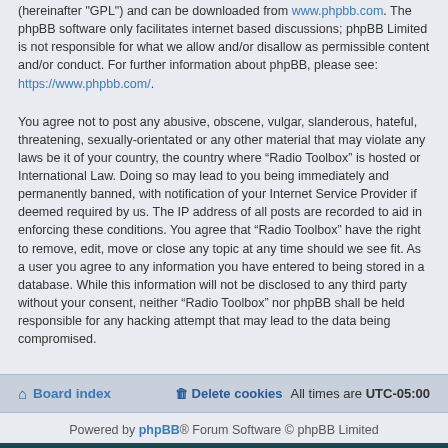(hereinafter "GPL") and can be downloaded from www.phpbb.com. The phpBB software only facilitates internet based discussions; phpBB Limited is not responsible for what we allow and/or disallow as permissible content and/or conduct. For further information about phpBB, please see: https://www.phpbb.com/.
You agree not to post any abusive, obscene, vulgar, slanderous, hateful, threatening, sexually-orientated or any other material that may violate any laws be it of your country, the country where “Radio Toolbox” is hosted or International Law. Doing so may lead to you being immediately and permanently banned, with notification of your Internet Service Provider if deemed required by us. The IP address of all posts are recorded to aid in enforcing these conditions. You agree that “Radio Toolbox” have the right to remove, edit, move or close any topic at any time should we see fit. As a user you agree to any information you have entered to being stored in a database. While this information will not be disclosed to any third party without your consent, neither “Radio Toolbox” nor phpBB shall be held responsible for any hacking attempt that may lead to the data being compromised.
Board index | Delete cookies | All times are UTC-05:00
Powered by phpBB® Forum Software © phpBB Limited
Terms of Service | Privacy Policy | Contact Us | Follow Us
© Radio Toolbox, LLC • 2006-2022